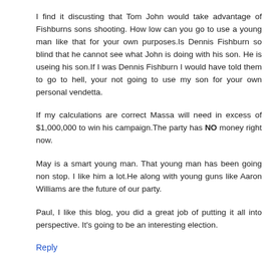I find it discusting that Tom John would take advantage of Fishburns sons shooting. How low can you go to use a young man like that for your own purposes.Is Dennis Fishburn so blind that he cannot see what John is doing with his son. He is useing his son.If I was Dennis Fishburn I would have told them to go to hell, your not going to use my son for your own personal vendetta.
If my calculations are correct Massa will need in excess of $1,000,000 to win his campaign.The party has NO money right now.
May is a smart young man. That young man has been going non stop. I like him a lot.He along with young guns like Aaron Williams are the future of our party.
Paul, I like this blog, you did a great job of putting it all into perspective. It's going to be an interesting election.
Reply